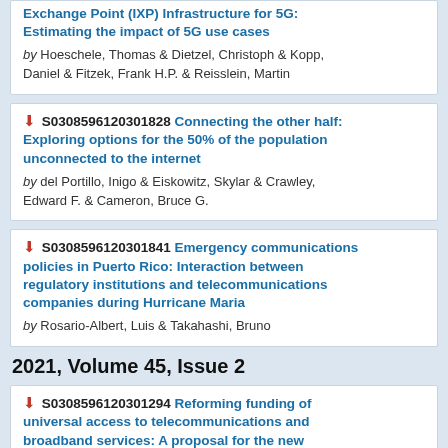Exchange Point (IXP) Infrastructure for 5G: Estimating the impact of 5G use cases by Hoeschele, Thomas & Dietzel, Christoph & Kopp, Daniel & Fitzek, Frank H.P. & Reisslein, Martin
S0308596120301828 Connecting the other half: Exploring options for the 50% of the population unconnected to the internet by del Portillo, Inigo & Eiskowitz, Skylar & Crawley, Edward F. & Cameron, Bruce G.
S0308596120301841 Emergency communications policies in Puerto Rico: Interaction between regulatory institutions and telecommunications companies during Hurricane Maria by Rosario-Albert, Luis & Takahashi, Bruno
2021, Volume 45, Issue 2
S0308596120301294 Reforming funding of universal access to telecommunications and broadband services: A proposal for the new global digital agenda